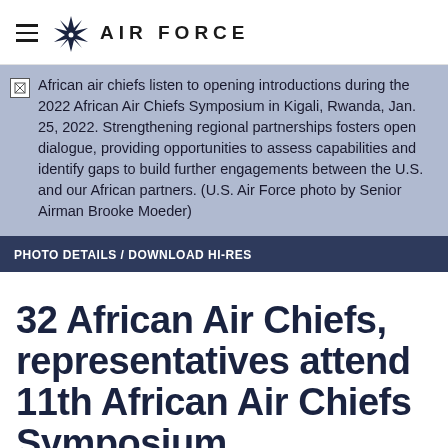AIR FORCE
[Figure (photo): Photo placeholder with alt text: African air chiefs listen to opening introductions during the 2022 African Air Chiefs Symposium in Kigali, Rwanda, Jan. 25, 2022. Strengthening regional partnerships fosters open dialogue, providing opportunities to assess capabilities and identify gaps to build further engagements between the U.S. and our African partners. (U.S. Air Force photo by Senior Airman Brooke Moeder)]
PHOTO DETAILS / DOWNLOAD HI-RES
32 African Air Chiefs, representatives attend 11th African Air Chiefs Symposium